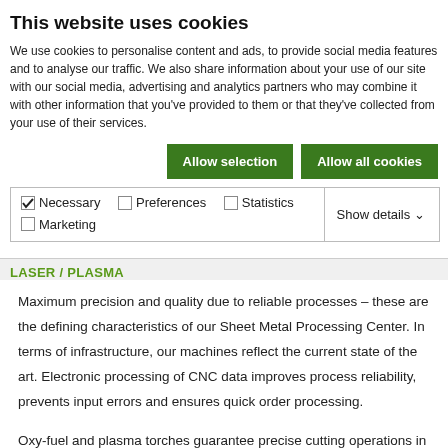This website uses cookies
We use cookies to personalise content and ads, to provide social media features and to analyse our traffic. We also share information about your use of our site with our social media, advertising and analytics partners who may combine it with other information that you've provided to them or that they've collected from your use of their services.
Allow selection | Allow all cookies
| ✓ Necessary | ☐ Preferences | ☐ Statistics | Show details ∨ |
| ☐ Marketing |  |  |  |
LASER / PLASMA
Maximum precision and quality due to reliable processes – these are the defining characteristics of our Sheet Metal Processing Center. In terms of infrastructure, our machines reflect the current state of the art. Electronic processing of CNC data improves process reliability, prevents input errors and ensures quick order processing.
Oxy-fuel and plasma torches guarantee precise cutting operations in our Sheet Metal Processing Center. Contour marking is another service we offer: On request, we will add welding and assembly